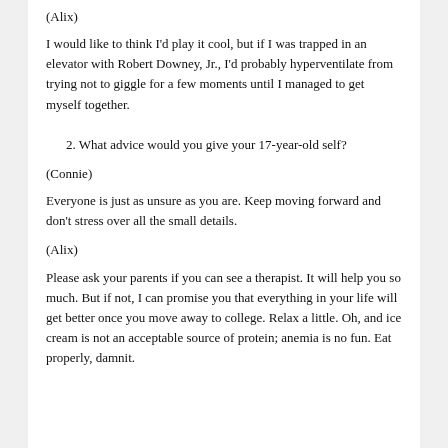(Alix)
I would like to think I'd play it cool, but if I was trapped in an elevator with Robert Downey, Jr., I'd probably hyperventilate from trying not to giggle for a few moments until I managed to get myself together.
2. What advice would you give your 17-year-old self?
(Connie)
Everyone is just as unsure as you are. Keep moving forward and don't stress over all the small details.
(Alix)
Please ask your parents if you can see a therapist. It will help you so much. But if not, I can promise you that everything in your life will get better once you move away to college. Relax a little. Oh, and ice cream is not an acceptable source of protein; anemia is no fun. Eat properly, damnit.